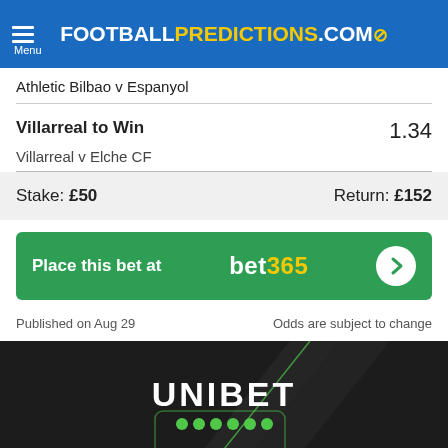FOOTBALLPREDICTIONS.COM
Athletic Bilbao v Espanyol
Villarreal to Win
Villarreal v Elche CF
1.34
Stake: £50    Return: £152
Place this bet at   bet365
Published on Aug 29    Odds are subject to change
[Figure (illustration): Unibet advertisement banner: dark background with diagonal stripe design, UNIBET logo in white with green dots, text reading BET £20 GET £40]